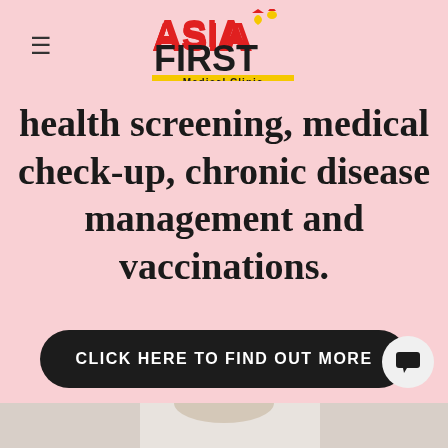[Figure (logo): Asia First Medical Clinic logo with red and black text, yellow banner, and a red/yellow droplet/heart icon]
health screening, medical check-up, chronic disease management and vaccinations.
CLICK HERE TO FIND OUT MORE
[Figure (photo): Partial photo of a person in white coat at the bottom of the page]